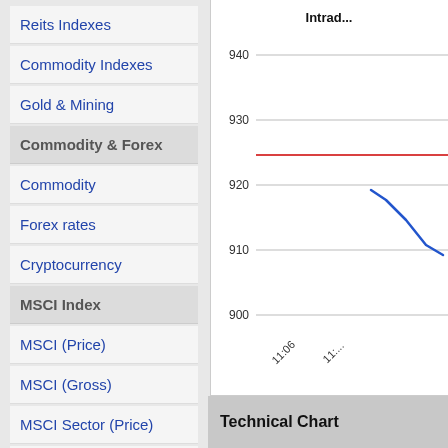Reits Indexes
Commodity Indexes
Gold & Mining
Commodity & Forex
Commodity
Forex rates
Cryptocurrency
MSCI Index
MSCI (Price)
MSCI (Gross)
MSCI Sector (Price)
MSCI Sector (Gross)
[Figure (continuous-plot): Intraday line chart showing price movement from approximately 920 down to around 910, with y-axis labels 900, 910, 920, 930, 940 and x-axis label 11:06]
Technical Chart